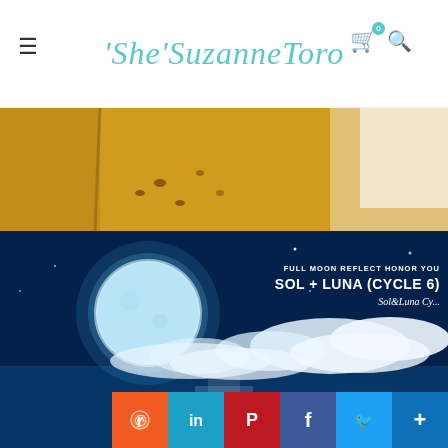'She'SuzanneToro
[Figure (photo): Partial view of what appears to be baked goods or food items on a surface, golden/brown tones with some white fabric visible]
[Figure (photo): Full moon over a dark ocean at night, glowing blue-white moon against a dark blue sky with clouds, moonlight reflecting on the water surface. Overlay text: FULL MOON REFLECT HONOR YOU / SOL + LUNA (CYCLE 6) / Sol&Luna Cy...]
FULL MOON REFLECT HONOR YOU
SOL + LUNA (CYCLE 6)
Sol&Luna Cy...